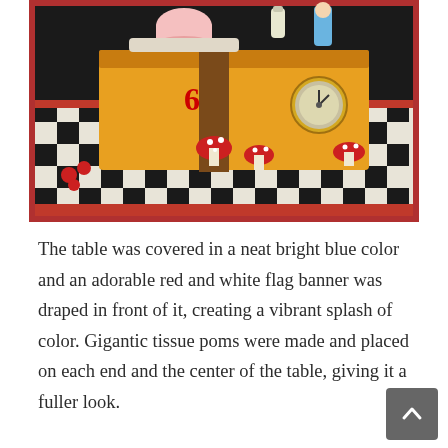[Figure (photo): An Alice in Wonderland themed birthday cake with the number 6, decorated with mushrooms, a pocket watch, a teacup, and an Alice figurine, placed on a black and white checkered board surface with a red background.]
The table was covered in a neat bright blue color and an adorable red and white flag banner was draped in front of it, creating a vibrant splash of color. Gigantic tissue poms were made and placed on each end and the center of the table, giving it a fuller look.